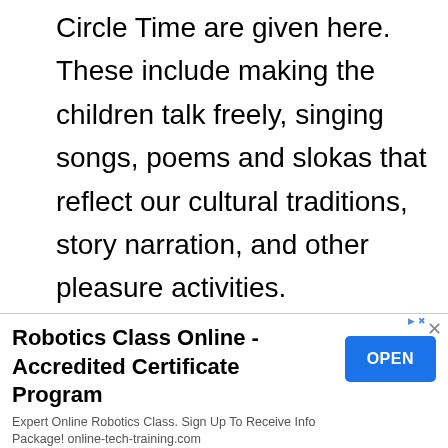Circle Time are given here. These include making the children talk freely, singing songs, poems and slokas that reflect our cultural traditions, story narration, and other pleasure activities.
Language includes reading and writing preparation activities i.e. drama, acting, individual activities, group activities whole class activities, picture interaction, emergent reading and
Robotics Class Online - Accredited Certificate Program
Expert Online Robotics Class. Sign Up To Receive Info Package! online-tech-training.com